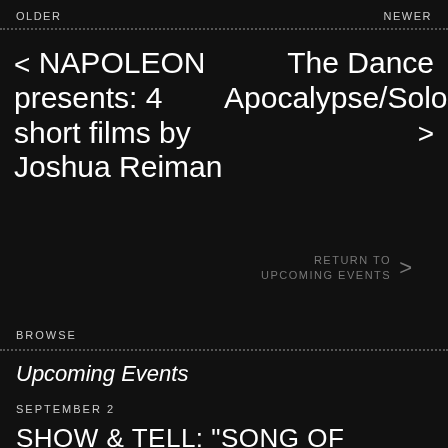OLDER   NEWER
< NAPOLEON presents: 4 short films by Joshua Reiman
The Dance Apocalypse/Solos >
RETURN TO UPCOMING EVENTS >
BROWSE
Upcoming Events
SEPTEMBER 2
SHOW & TELL: "SONG OF SINIGANG" WITH KT DE BENITO